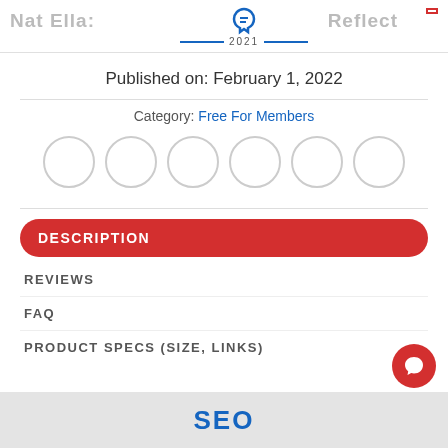Nat Ella: [logo] 2021
Published on: February 1, 2022
Category: Free For Members
[Figure (illustration): Six empty circles arranged in a row, representing a rating or social sharing icons]
DESCRIPTION
REVIEWS
FAQ
PRODUCT SPECS (SIZE, LINKS)
[Figure (photo): Bottom partial image showing blue text reading SEO on a light background]